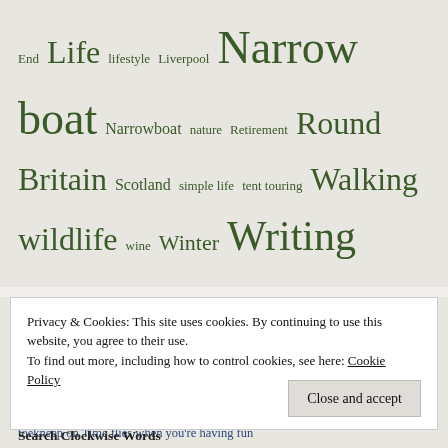End Life lifestyle Liverpool Narrow boat Narrowboat nature Retirement Round Britain Scotland simple life tent touring Walking wildlife wine Winter Writing
Recent Comments
The Kindness of Folk – the story of 'A Scottish Island'. – Gill Pearson Art on Missing underwear
brendaintheboro on Time flies when you're having fun
toekneep on Time flies when you're having fun
Privacy & Cookies: This site uses cookies. By continuing to use this website, you agree to their use. To find out more, including how to control cookies, see here: Cookie Policy
Close and accept
Search Clockwise Words